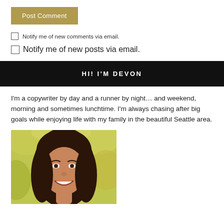Post Comment
Notify me of new comments via email.
Notify me of new posts via email.
HI! I'M DEVON
I'm a copywriter by day and a runner by night… and weekend, morning and sometimes lunchtime. I'm always chasing after big goals while enjoying life with my family in the beautiful Seattle area.
[Figure (photo): Portrait photo of Devon, a woman with long dark brown hair, smiling, with blurred outdoor foliage in the background]